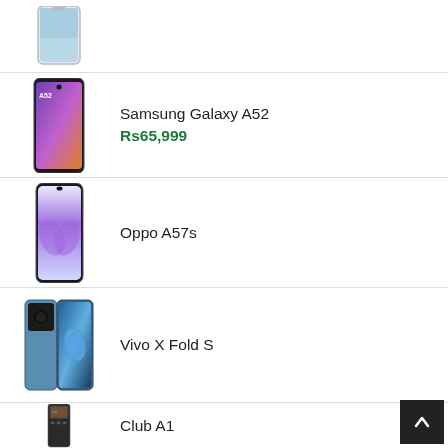[Figure (photo): Partial smartphone image at top, cropped]
[Figure (photo): Samsung Galaxy A52 smartphone front view with colorful display]
Samsung Galaxy A52
Rs65,999
[Figure (photo): Oppo A57s smartphone front view with purple butterfly wallpaper]
Oppo A57s
[Figure (photo): Vivo X Fold S foldable smartphone, blue color, partially open]
Vivo X Fold S
[Figure (photo): Club A1 feature phone/basic phone]
Club A1